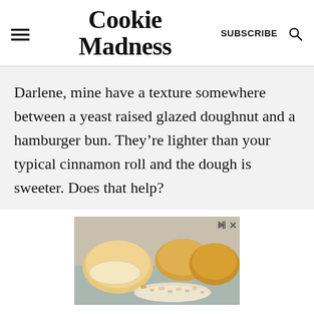Cookie Madness
Darlene, mine have a texture somewhere between a yeast raised glazed doughnut and a hamburger bun. They’re lighter than your typical cinnamon roll and the dough is sweeter. Does that help?
[Figure (photo): Advertisement image showing bread rolls and food items on a plate, with play and close controls in top right corner.]